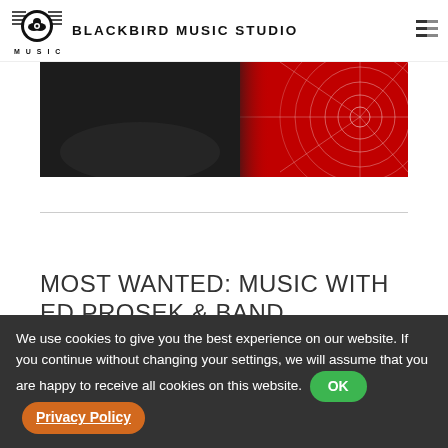BLACKBIRD MUSIC STUDIO
[Figure (photo): Hero banner image: left side dark background, right side red spider-web patterned guitar or decorative item close-up]
MOST WANTED: MUSIC WITH ED PROSEK & BAND
Posted on November 23, 2015August 29, 2019
We use cookies to give you the best experience on our website. If you continue without changing your settings, we will assume that you are happy to receive all cookies on this website. OK  Privacy Policy